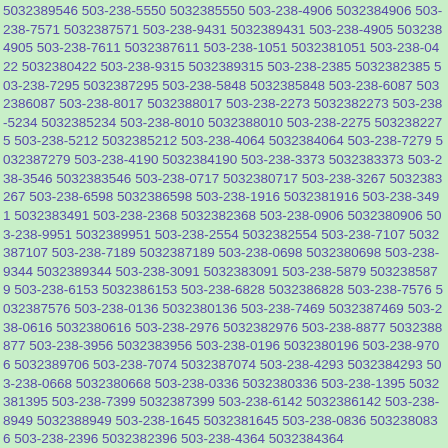5032389546 503-238-5550 5032385550 503-238-4906 5032384906 503-238-7571 5032387571 503-238-9431 5032389431 503-238-4905 5032384905 503-238-7611 5032387611 503-238-1051 5032381051 503-238-0422 5032380422 503-238-9315 5032389315 503-238-2385 5032382385 503-238-7295 5032387295 503-238-5848 5032385848 503-238-6087 5032386087 503-238-8017 5032388017 503-238-2273 5032382273 503-238-5234 5032385234 503-238-8010 5032388010 503-238-2275 5032382275 503-238-5212 5032385212 503-238-4064 5032384064 503-238-7279 5032387279 503-238-4190 5032384190 503-238-3373 5032383373 503-238-3546 5032383546 503-238-0717 5032380717 503-238-3267 5032383267 503-238-6598 5032386598 503-238-1916 5032381916 503-238-3491 5032383491 503-238-2368 5032382368 503-238-0906 5032380906 503-238-9951 5032389951 503-238-2554 5032382554 503-238-7107 5032387107 503-238-7189 5032387189 503-238-0698 5032380698 503-238-9344 5032389344 503-238-3091 5032383091 503-238-5879 5032385879 503-238-6153 5032386153 503-238-6828 5032386828 503-238-7576 5032387576 503-238-0136 5032380136 503-238-7469 5032387469 503-238-0616 5032380616 503-238-2976 5032382976 503-238-8877 5032388877 503-238-3956 5032383956 503-238-0196 5032380196 503-238-9706 5032389706 503-238-7074 5032387074 503-238-4293 5032384293 503-238-0668 5032380668 503-238-0336 5032380336 503-238-1395 5032381395 503-238-7399 5032387399 503-238-6142 5032386142 503-238-8949 5032388949 503-238-1645 5032381645 503-238-0836 5032380836 503-238-2396 5032382396 503-238-4364 5032384364